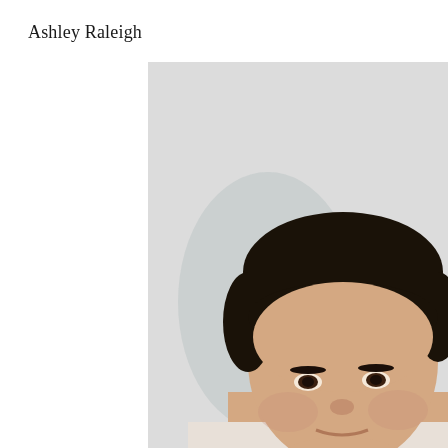Ashley Raleigh
[Figure (photo): Portrait photo of a young Asian male with dark hair, shown from approximately the shoulders up, cropped so the top of the head and right side of the face are visible. The background is a light gray/off-white wall with a subtle shadow behind the subject.]